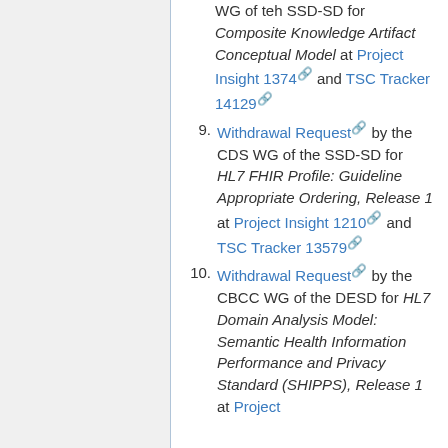WG of teh SSD-SD for Composite Knowledge Artifact Conceptual Model at Project Insight 1374 and TSC Tracker 14129
9. Withdrawal Request by the CDS WG of the SSD-SD for HL7 FHIR Profile: Guideline Appropriate Ordering, Release 1 at Project Insight 1210 and TSC Tracker 13579
10. Withdrawal Request by the CBCC WG of the DESD for HL7 Domain Analysis Model: Semantic Health Information Performance and Privacy Standard (SHIPPS), Release 1 at Project